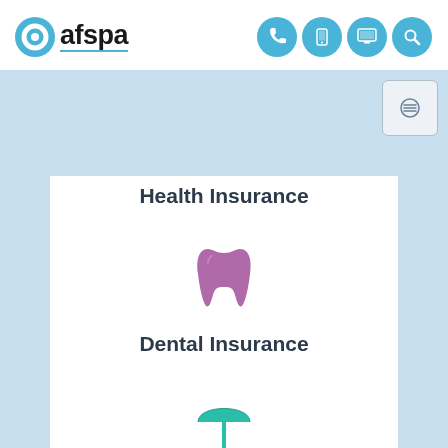[Figure (logo): AFSPA logo with blue circle icon and bold text 'afspa']
[Figure (infographic): Navigation icons: phone, tablet, monitor, search — white icons on blue circles]
[Figure (infographic): Menu button with lines icon, light gray square with rounded corners]
Health Insurance
[Figure (illustration): Purple/mauve tooth icon representing dental insurance]
Dental Insurance
[Figure (illustration): Teal/green umbrella icon representing life insurance]
Life Insurance